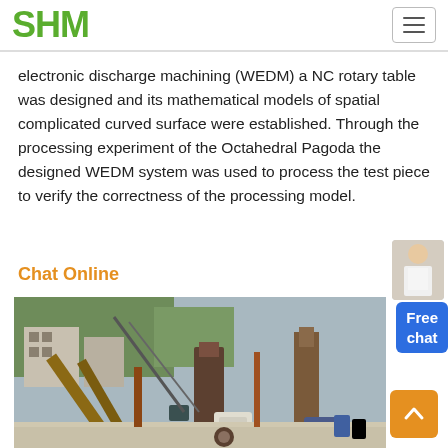SHM
electronic discharge machining (WEDM) a NC rotary table was designed and its mathematical models of spatial complicated curved surface were established. Through the processing experiment of the Octahedral Pagoda the designed WEDM system was used to process the test piece to verify the correctness of the processing model.
Chat Online
[Figure (photo): Industrial mining/crushing plant with conveyor belts, crushers, and heavy machinery at a quarry site]